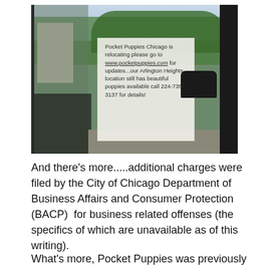[Figure (photo): Photo of a store window/door with a sign that reads: 'Pocket Puppies Chicago is relocating please go to www.pocketpuppies.com for updates...our Arlington Heights location still has beautiful puppies available call 224-735-3137 for details!' The reflection shows trees, a building, and a dark car on the right side.]
And there’s more.....additional charges were filed by the City of Chicago Department of Business Affairs and Consumer Protection (BACP)  for business related offenses (the specifics of which are unavailable as of this writing).
What’s more, Pocket Puppies was previously